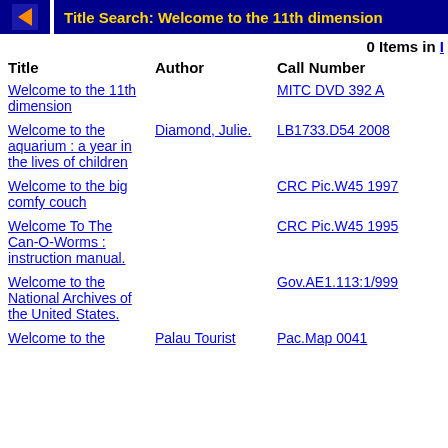Title Search: Welcome to the 11th dimension
0 Items in [link]
| Title | Author | Call Number |
| --- | --- | --- |
| Welcome to the 11th dimension |  | MITC DVD 392 A |
| Welcome to the aquarium : a year in the lives of children | Diamond, Julie. | LB1733.D54 2008 |
| Welcome to the big comfy couch |  | CRC Pic.W45 1997 |
| Welcome To The Can-O-Worms : instruction manual. |  | CRC Pic.W45 1995 |
| Welcome to the National Archives of the United States. |  | Gov.AE1.113:1/999 |
| Welcome to the | Palau Tourist | Pac.Map 0041 |